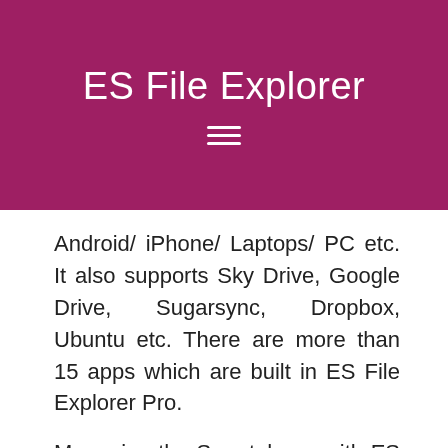ES File Explorer
Android/ iPhone/ Laptops/ PC etc. It also supports Sky Drive, Google Drive, Sugarsync, Dropbox, Ubuntu etc. There are more than 15 apps which are built in ES File Explorer Pro.
Managing the Smartphone with ES is so simple. It will help you to open the files remotely through FTP. Also, you can upload files to your cloud services of choice to see what's inside your Zip files. It